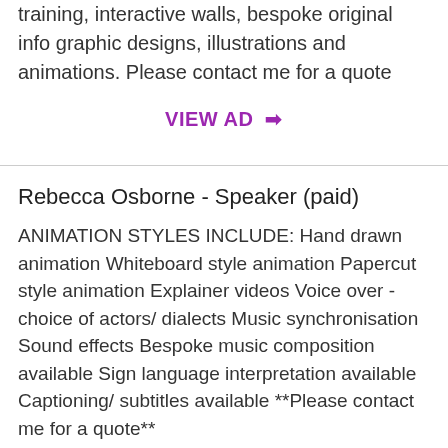training, interactive walls, bespoke original info graphic designs, illustrations and animations. Please contact me for a quote
VIEW AD →
Rebecca Osborne - Speaker (paid)
ANIMATION STYLES INCLUDE: Hand drawn animation Whiteboard style animation Papercut style animation Explainer videos Voice over - choice of actors/ dialects Music synchronisation Sound effects Bespoke music composition available Sign language interpretation available Captioning/ subtitles available **Please contact me for a quote**